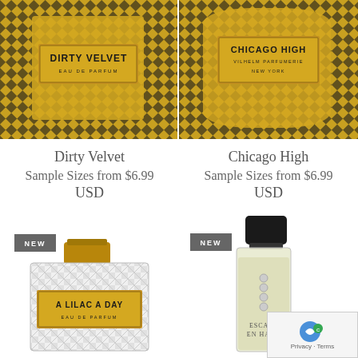[Figure (photo): Dirty Velvet perfume bottle with gold and black patterned bottle and gold label]
[Figure (photo): Chicago High perfume bottle with gold and black patterned bottle and gold label]
Dirty Velvet
Sample Sizes from $6.99
USD
Chicago High
Sample Sizes from $6.99
USD
[Figure (photo): A Lilac A Day perfume bottle with gold cap, houndstooth/marble pattern and gold label, marked NEW]
[Figure (photo): Escale En Haiti perfume bottle, clear glass with light yellow fragrance, black cap, marked NEW]